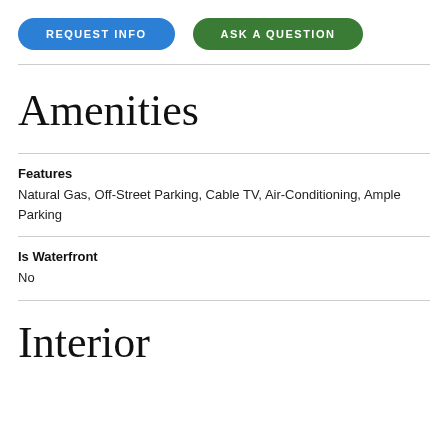REQUEST INFO | ASK A QUESTION
Amenities
Features
Natural Gas, Off-Street Parking, Cable TV, Air-Conditioning, Ample Parking
Is Waterfront
No
Interior